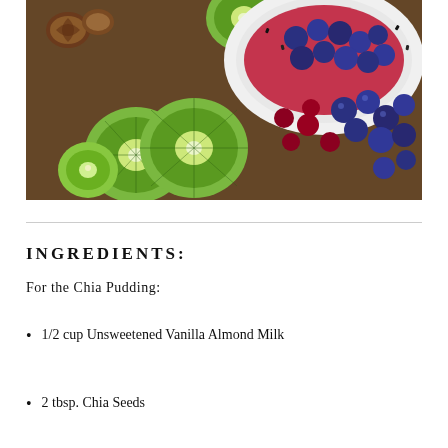[Figure (photo): Overhead photo of kiwi slices, blueberries, cherries, walnuts, and a white bowl with smoothie/pudding topped with blueberries and chia seeds on a dark surface]
INGREDIENTS:
For the Chia Pudding:
1/2 cup Unsweetened Vanilla Almond Milk
2 tbsp. Chia Seeds